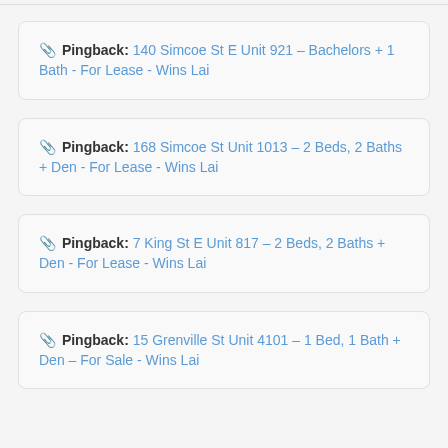Pingback: 140 Simcoe St E Unit 921 – Bachelors + 1 Bath - For Lease - Wins Lai
Pingback: 168 Simcoe St Unit 1013 – 2 Beds, 2 Baths + Den - For Lease - Wins Lai
Pingback: 7 King St E Unit 817 – 2 Beds, 2 Baths + Den - For Lease - Wins Lai
Pingback: 15 Grenville St Unit 4101 – 1 Bed, 1 Bath + Den – For Sale - Wins Lai